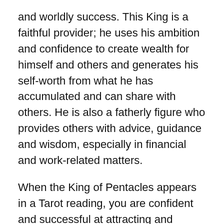and worldly success. This King is a faithful provider; he uses his ambition and confidence to create wealth for himself and others and generates his self-worth from what he has accumulated and can share with others. He is also a fatherly figure who provides others with advice, guidance and wisdom, especially in financial and work-related matters.
When the King of Pentacles appears in a Tarot reading, you are confident and successful at attracting and managing wealth. Not only do you identify opportunities for growth and success, but you also draw upon your